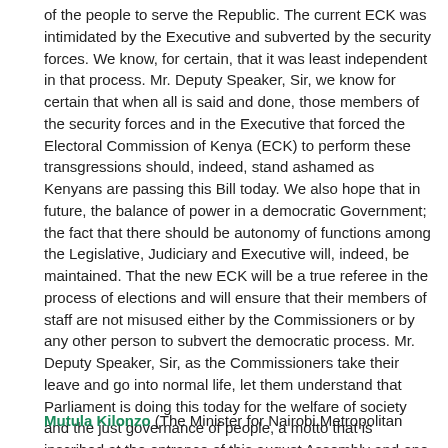of the people to serve the Republic. The current ECK was intimidated by the Executive and subverted by the security forces. We know, for certain, that it was least independent in that process. Mr. Deputy Speaker, Sir, we know for certain that when all is said and done, those members of the security forces and in the Executive that forced the Electoral Commission of Kenya (ECK) to perform these transgressions should, indeed, stand ashamed as Kenyans are passing this Bill today. We also hope that in future, the balance of power in a democratic Government; the fact that there should be autonomy of functions among the Legislative, Judiciary and Executive will, indeed, be maintained. That the new ECK will be a true referee in the process of elections and will ensure that their members of staff are not misused either by the Commissioners or by any other person to subvert the democratic process. Mr. Deputy Speaker, Sir, as the Commissioners take their leave and go into normal life, let them understand that Parliament is doing this today for the welfare of society and the just governance of people, a motto that is inscribed at the entrance of this august Assembly and one that should, in future, be defended by an independent electoral commission. I beg to support.
Mutula Kilonzo (The Minister for Nairobi Metropolitan